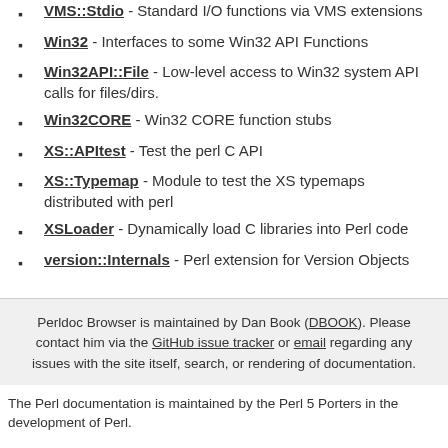VMS::Stdio - Standard I/O functions via VMS extensions
Win32 - Interfaces to some Win32 API Functions
Win32API::File - Low-level access to Win32 system API calls for files/dirs.
Win32CORE - Win32 CORE function stubs
XS::APItest - Test the perl C API
XS::Typemap - Module to test the XS typemaps distributed with perl
XSLoader - Dynamically load C libraries into Perl code
version::Internals - Perl extension for Version Objects
Perldoc Browser is maintained by Dan Book (DBOOK). Please contact him via the GitHub issue tracker or email regarding any issues with the site itself, search, or rendering of documentation.
The Perl documentation is maintained by the Perl 5 Porters in the development of Perl.